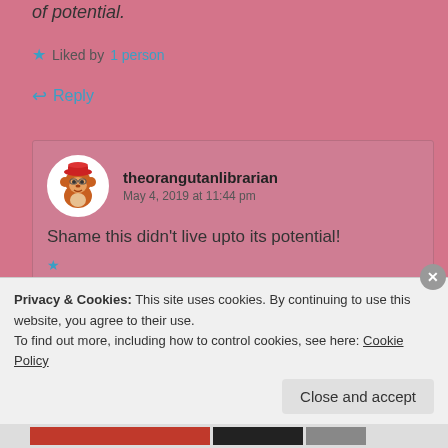of potential.
★ Liked by 1 person
↩ Reply
theorangutanlibrarian
May 4, 2019 at 11:44 pm
Shame this didn't live upto its potential!
Privacy & Cookies: This site uses cookies. By continuing to use this website, you agree to their use.
To find out more, including how to control cookies, see here: Cookie Policy